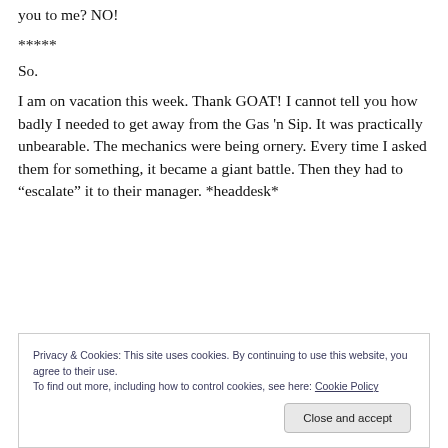you to me? NO!
*****
So.
I am on vacation this week. Thank GOAT! I cannot tell you how badly I needed to get away from the Gas 'n Sip. It was practically unbearable. The mechanics were being ornery. Every time I asked them for something, it became a giant battle. Then they had to “escalate” it to their manager. *headdesk*
Privacy & Cookies: This site uses cookies. By continuing to use this website, you agree to their use.
To find out more, including how to control cookies, see here: Cookie Policy
Close and accept